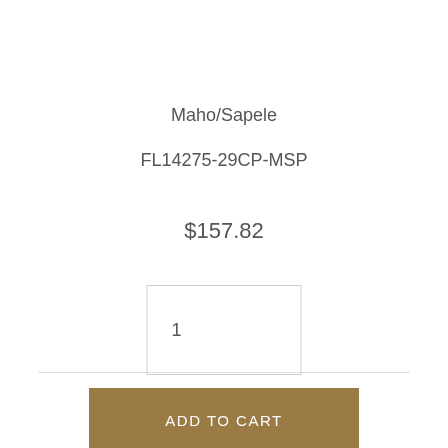Maho/Sapele
FL14275-29CP-MSP
$157.82
1
ADD TO CART